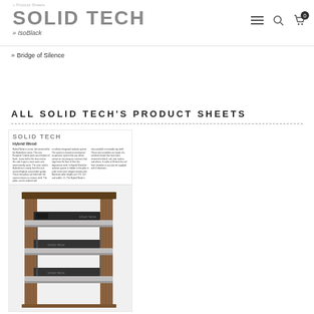SOLID TECH / IsoBlack
» Bridge of Silence
ALL SOLID TECH'S PRODUCT SHEETS
[Figure (photo): Solid Tech product sheet showing Hybrid Wood rack system with text columns and product image of a multi-shelf audio rack with wooden uprights and metal shelves]